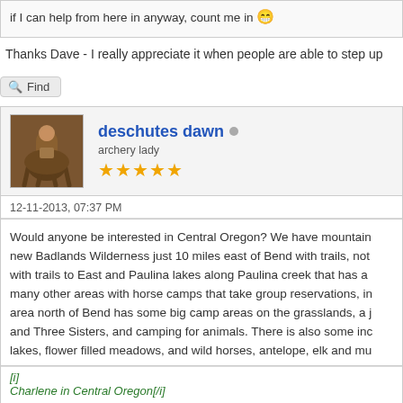if I can help from here in anyway, count me in 😁
Thanks Dave - I really appreciate it when people are able to step up
Find
deschutes dawn  archery lady ★★★★★
12-11-2013, 07:37 PM
Would anyone be interested in Central Oregon? We have mountain new Badlands Wilderness just 10 miles east of Bend with trails, not with trails to East and Paulina lakes along Paulina creek that has a many other areas with horse camps that take group reservations, in area north of Bend has some big camp areas on the grasslands, a j and Three Sisters, and camping for animals. There is also some inc lakes, flower filled meadows, and wild horses, antelope, elk and mu
[i]
Charlene in Central Oregon[/i]